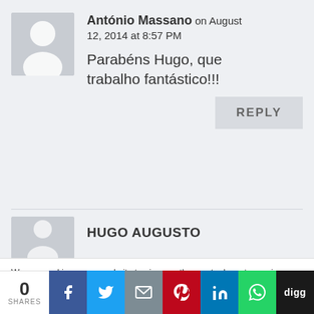António Massano on August 12, 2014 at 8:57 PM
Parabéns Hugo, que trabalho fantástico!!!
REPLY
HUGO AUGUSTO
We use cookies on our website to give you the most relevant experience by remembering your preferences and repeat visits. By clicking "Accept All", you consent to the use of ALL the cookies. However, you may visit "Cookie Settings" to provide a controlled consent.
0 SHARES